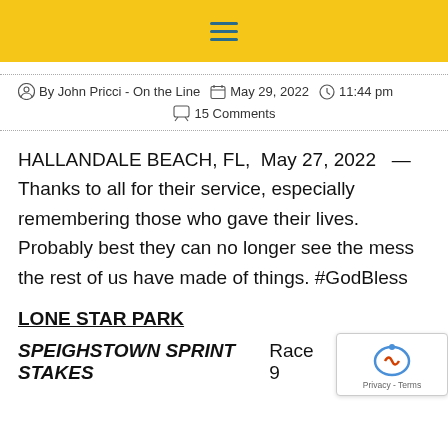≡ (hamburger menu icon)
By John Pricci - On the Line   May 29, 2022   11:44 pm   15 Comments
HALLANDALE BEACH, FL,  May 27, 2022  —  Thanks to all for their service, especially remembering those who gave their lives. Probably best they can no longer see the mess the rest of us have made of things. #GodBless
LONE STAR PARK
SPEIGHSTOWN SPRINT STAKES    Race 9